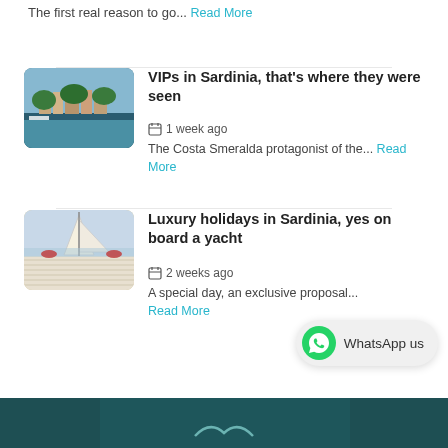The first real reason to go... Read More
[Figure (photo): Aerial view of Sardinia coastline with village and sea]
VIPs in Sardinia, that's where they were seen
1 week ago
The Costa Smeralda protagonist of the... Read More
[Figure (photo): Sailboat deck view on the sea in Sardinia]
Luxury holidays in Sardinia, yes on board a yacht
2 weeks ago
A special day, an exclusive proposal... Read More
[Figure (photo): WhatsApp us button with green WhatsApp icon]
[Figure (photo): Dark teal underwater or nature background image at bottom]